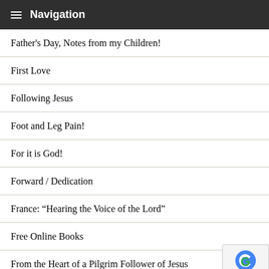Navigation
Father's Day, Notes from my Children!
First Love
Following Jesus
Foot and Leg Pain!
For it is God!
Forward / Dedication
France: “Hearing the Voice of the Lord”
Free Online Books
From the Heart of a Pilgrim Follower of Jesus